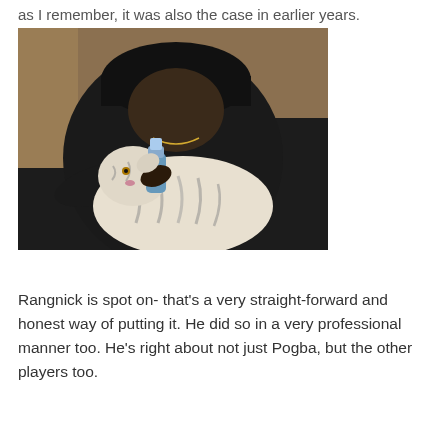as I remember, it was also the case in earlier years.
[Figure (photo): A person wearing a black cap and black t-shirt bottle-feeding a white tiger cub, seated on a couch with orange/brown cushions in the background.]
Rangnick is spot on- that's a very straight-forward and honest way of putting it. He did so in a very professional manner too. He's right about not just Pogba, but the other players too.